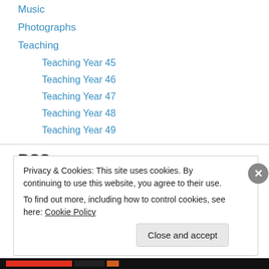Music
Photographs
Teaching
Teaching Year 45
Teaching Year 46
Teaching Year 47
Teaching Year 48
Teaching Year 49
RSS
RSS - Posts
Privacy & Cookies: This site uses cookies. By continuing to use this website, you agree to their use.
To find out more, including how to control cookies, see here: Cookie Policy
Close and accept